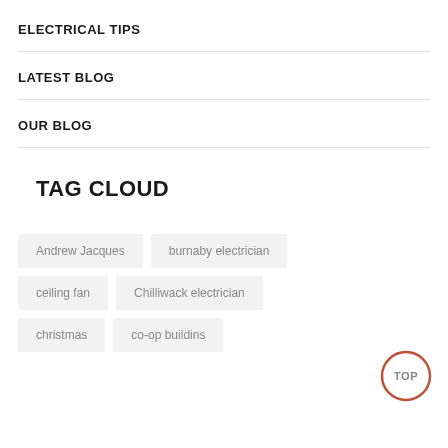ELECTRICAL TIPS
LATEST BLOG
OUR BLOG
TAG CLOUD
Andrew Jacques
burnaby electrician
ceiling fan
Chilliwack electrician
christmas
co-op buildins